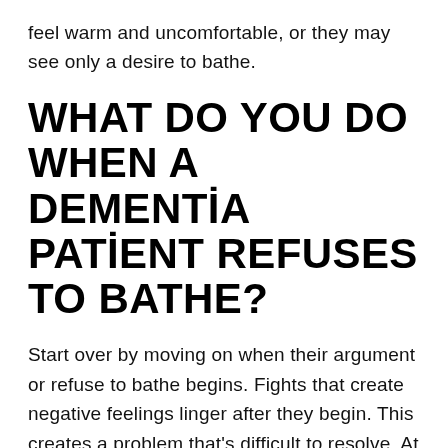feel warm and uncomfortable, or they may see only a desire to bathe.
WHAT DO YOU DO WHEN A DEMENTIA PATIENT REFUSES TO BATHE?
Start over by moving on when their argument or refuse to bathe begins. Fights that create negative feelings linger after they begin. This creates a problem that’s difficult to resolve. At first, be gentle with yourself again, but repeat some breathing exercises and use “we” instead of “you” during your bathing sessions.